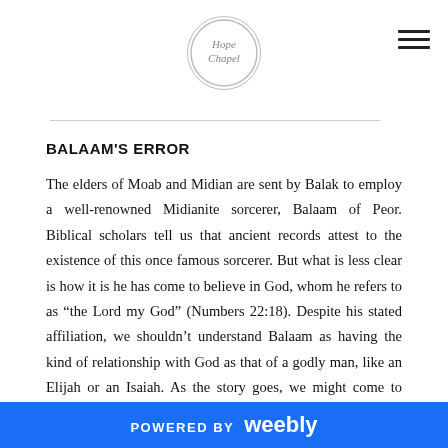Hope Chapel
BALAAM'S ERROR
The elders of Moab and Midian are sent by Balak to employ a well-renowned Midianite sorcerer, Balaam of Peor. Biblical scholars tell us that ancient records attest to the existence of this once famous sorcerer. But what is less clear is how it is he has come to believe in God, whom he refers to as “the Lord my God” (Numbers 22:18). Despite his stated affiliation, we shouldn’t understand Balaam as having the kind of relationship with God as that of a godly man, like an Elijah or an Isaiah. As the story goes, we might come to think of him more along the lines of a shaman or voodoo priest; he has come to rely on the
POWERED BY weebly